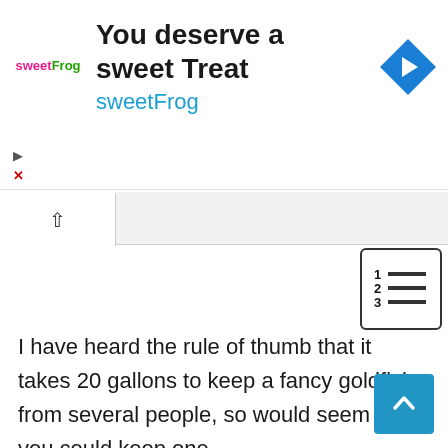[Figure (infographic): sweetFrog advertisement banner with logo text 'sweetFrog' in pink and green, headline 'You deserve a sweet Treat', brand name 'sweetFrog' in cyan, and a blue diamond navigation arrow icon on the right]
I have heard the rule of thumb that it takes 20 gallons to keep a fancy goldfish from several people, so would seem that you could keep one.